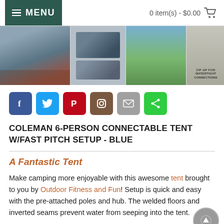MENU   0 item(s) - $0.00
[Figure (photo): Four product photos of a Coleman 6-person tent: interior view, product thumbnails, outdoor field setup, and waterproof connection detail.]
[Figure (infographic): Row of social sharing buttons: Facebook, Twitter, Pinterest, Instagram, Email, Share]
COLEMAN 6-PERSON CONNECTABLE TENT W/FAST PITCH SETUP - BLUE
A Fantastic Tent
Make camping more enjoyable with this awesome tent brought to you by Outdoor Fitness and Fun! Setup is quick and easy with the pre-attached poles and hub. The welded floors and inverted seams prevent water from seeping into the tent.
Details: